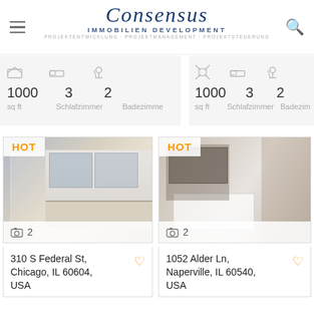Consensus Immobilien Development — PROJEKTENTWICKLUNG · PROJEKTMANAGEMENT · PROJEKTSTEUERUNG
1000  3  2  sq ft  Schlafzimmer  Badezimmer
1000  3  2  sq ft  Schlafzimmer  Badezimmer
[Figure (photo): Interior photo of a kitchen with white cabinetry and shelving, HOT badge, camera icon with count 2]
310 S Federal St, Chicago, IL 60604, USA
[Figure (photo): Interior photo of a luxury bedroom with bathtub, HOT badge, camera icon with count 2]
1052 Alder Ln, Naperville, IL 60540, USA